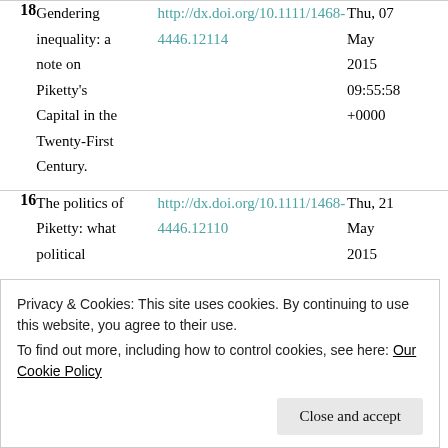| # | Title | Link | Date |
| --- | --- | --- | --- |
| 18 | Gendering inequality: a note on Piketty's Capital in the Twenty-First Century. | http://dx.doi.org/10.1111/1468-4446.12114 | Thu, 07 May 2015 09:55:58 +0000 |
| 16 | The politics of Piketty: what political | http://dx.doi.org/10.1111/1468-4446.12110 | Thu, 21 May 2015 |
Privacy & Cookies: This site uses cookies. By continuing to use this website, you agree to their use.
To find out more, including how to control cookies, see here: Our Cookie Policy